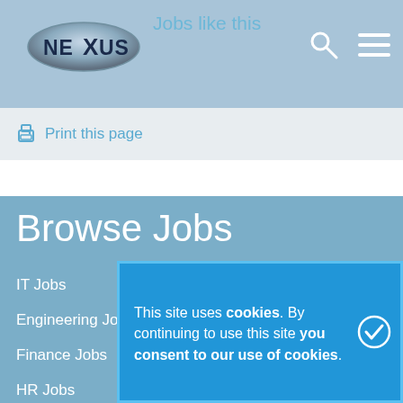[Figure (logo): Nexus recruitment company logo — silver oval with dark blue NEXUS text]
Jobs like this
Print this page
Browse Jobs
IT Jobs
Engineering Jobs
Finance Jobs
HR Jobs
Telecom...
Banking...
This site uses cookies. By continuing to use this site you consent to our use of cookies.